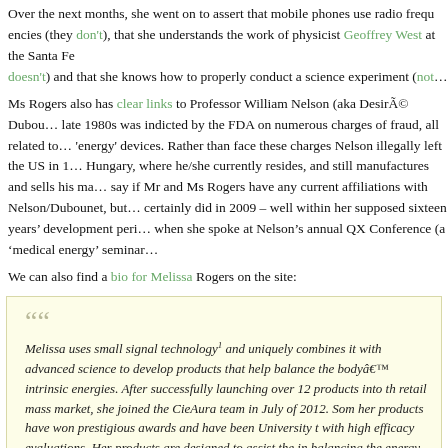Over the next months, she went on to assert that mobile phones use radio frequencies (they don't), that she understands the work of physicist Geoffrey West at the Santa Fe Institute (she doesn't) and that she knows how to properly conduct a science experiment (not really).
Ms Rogers also has clear links to Professor William Nelson (aka Desiré Dubounet) who in the late 1980s was indicted by the FDA on numerous charges of fraud, all related to his quack 'energy' devices. Rather than face these charges Nelson illegally left the US in 1994 and moved to Hungary, where he/she currently resides, and still manufactures and sells his machines. We can't say if Mr and Ms Rogers have any current affiliations with Nelson/Dubounet, but they certainly did in 2009 – well within her supposed sixteen years' development period – when she spoke at Nelson's annual QX Conference (a 'medical energy' seminar).
We can also find a bio for Melissa Rogers on the site:
Melissa uses small signal technology1 and uniquely combines it with advanced science to develop products that help balance the body’s intrinsic energies. After successfully launching over 12 products into the retail mass market, she joined the CieAura team in July of 2012. Some of her products have won prestigious awards and have been University tested with high efficacy evaluations. Her products are designed to assist the body in balancing the energy in the body, thus helping reduce stress in the body. Melissa believes; reducing stress in the body will help reduce stress in everyday life.